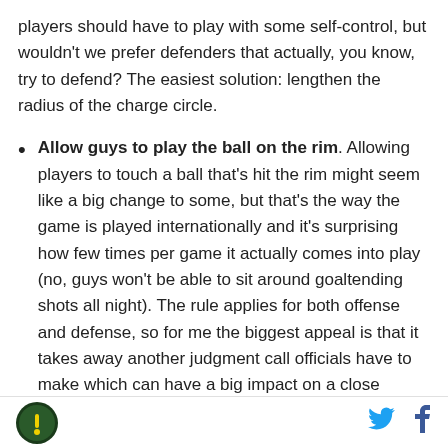players should have to play with some self-control, but wouldn't we prefer defenders that actually, you know, try to defend? The easiest solution: lengthen the radius of the charge circle.
Allow guys to play the ball on the rim. Allowing players to touch a ball that's hit the rim might seem like a big change to some, but that's the way the game is played internationally and it's surprising how few times per game it actually comes into play (no, guys won't be able to sit around goaltending shots all night). The rule applies for both offense and defense, so for me the biggest appeal is that it takes away another judgment call officials have to make which can have a big impact on a close